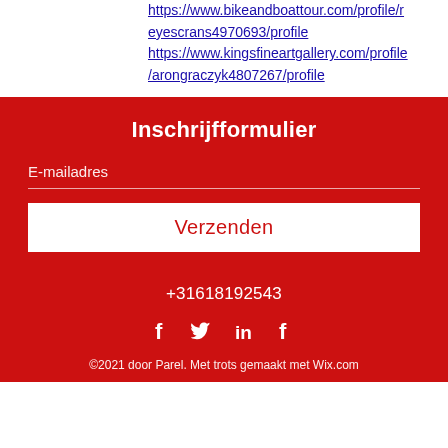https://www.bikeandboattour.com/profile/reyescrans4970693/profile
https://www.kingsfineartgallery.com/profile/arongraczyk4807267/profile
Inschrijfformulier
E-mailadres
Verzenden
+31618192543
[Figure (infographic): Social media icons: Facebook, Twitter, LinkedIn, Facebook]
©2021 door Parel. Met trots gemaakt met Wix.com